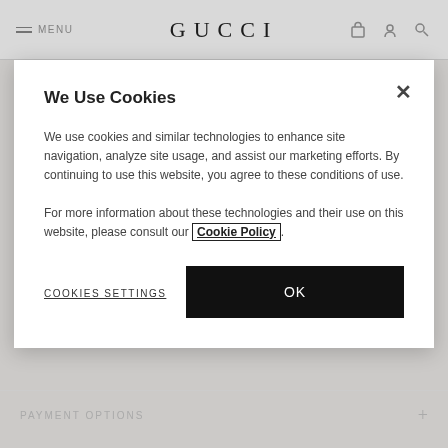MENU | GUCCI
We Use Cookies
We use cookies and similar technologies to enhance site navigation, analyze site usage, and assist our marketing efforts. By continuing to use this website, you agree to these conditions of use.
For more information about these technologies and their use on this website, please consult our Cookie Policy.
COOKIES SETTINGS
OK
vintage-inspired green packaging—innovatively created to be completely recyclable and accompanied by a Gucci.com exclusive reusable cotton canvas shopper on most orders.
PAYMENT OPTIONS